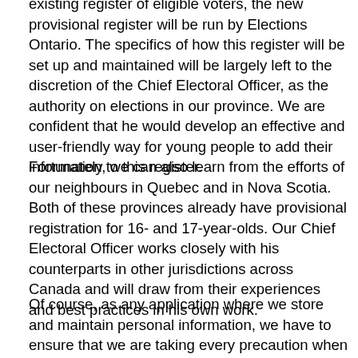existing register of eligible voters, the new provisional register will be run by Elections Ontario. The specifics of how this register will be set up and maintained will be largely left to the discretion of the Chief Electoral Officer, as the authority on elections in our province. We are confident that he would develop an effective and user-friendly way for young people to add their information to this register.
Fortunately, we can also learn from the efforts of our neighbours in Quebec and in Nova Scotia. Both of these provinces already have provisional registration for 16- and 17-year-olds. Our Chief Electoral Officer works closely with his counterparts in other jurisdictions across Canada and will draw from their experiences and best practices in his own work.
Of course, as any application where we store and maintain personal information, we have to ensure that we are taking every precaution when it comes to protecting privacy, even more so when we're talking about young people's